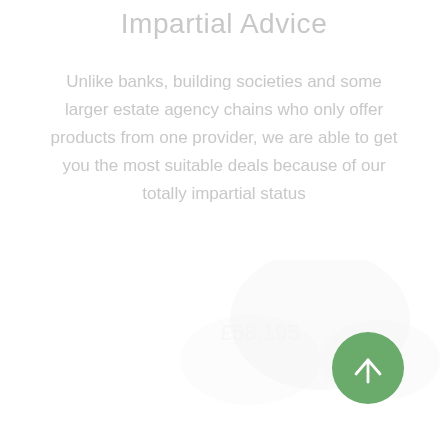Impartial Advice
Unlike banks, building societies and some larger estate agency chains who only offer products from one provider, we are able to get you the most suitable deals because of our totally impartial status
[Figure (illustration): Faint background decorative illustration in the lower half of the page, partially visible, light grey tones]
[Figure (other): Green circular button with white upward-pointing arrow, positioned in the bottom-right corner]